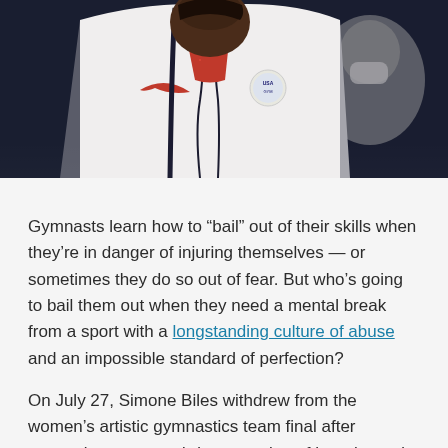[Figure (photo): Close-up photo of a gymnast wearing a white jacket with a Nike logo and a red sparkly leotard visible underneath, with a USA Gymnastics badge on the jacket. The background is dark blue/navy and out of focus. Another person wearing a white mask is partially visible in the background.]
Gymnasts learn how to “bail” out of their skills when they’re in danger of injuring themselves — or sometimes they do so out of fear. But who’s going to bail them out when they need a mental break from a sport with a longstanding culture of abuse and an impossible standard of perfection?
On July 27, Simone Biles withdrew from the women’s artistic gymnastics team final after competing a watered-down version of her planned Amanar vault. Though USA Gymnastics initially cited her exit as being caused by a